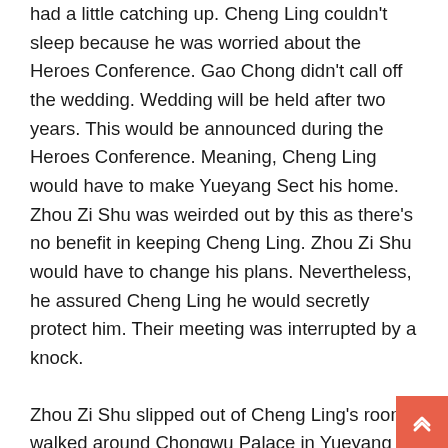had a little catching up. Cheng Ling couldn't sleep because he was worried about the Heroes Conference. Gao Chong didn't call off the wedding. Wedding will be held after two years. This would be announced during the Heroes Conference. Meaning, Cheng Ling would have to make Yueyang Sect his home. Zhou Zi Shu was weirded out by this as there's no benefit in keeping Cheng Ling. Zhou Zi Shu would have to change his plans. Nevertheless, he assured Cheng Ling he would secretly protect him. Their meeting was interrupted by a knock.
Zhou Zi Shu slipped out of Cheng Ling's room, walked around Chongwu Palace in Yueyang Sect guard uniform. It could be Gao Chong was making up for the mistakes he did to Rong Xuan. Zhou Zi Shu believed Rong Xuan was Wen Ke Xing's father. His mission was to resolve their grudges.